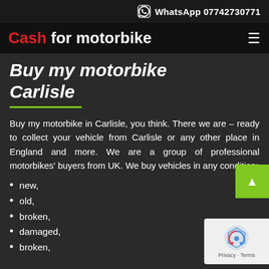WhatsApp 07742730771
Cash for motorbike
Buy my motorbike Carlisle
Buy my motorbike in Carlisle, you think. There we are – ready to collect your vehicle from Carlisle or any other place in England and more. We are a group of professional motorbikes' buyers from UK. We buy vehicles in any condition:
new,
old,
broken,
damaged,
broken,